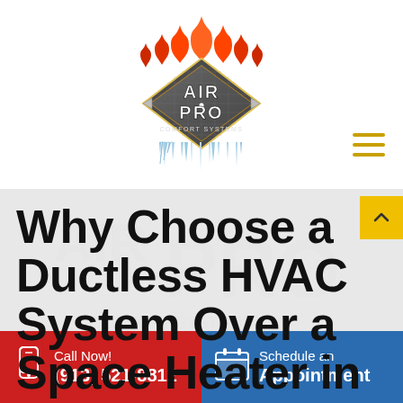[Figure (logo): Air Pro Comfort Systems logo — diamond shape with flames on top and icicles on bottom, text reads AIR PRO COMFORT SYSTEMS]
Why Choose a Ductless HVAC System Over a Space Heater in
Call Now! (913) 521-8812
Schedule an Appointment